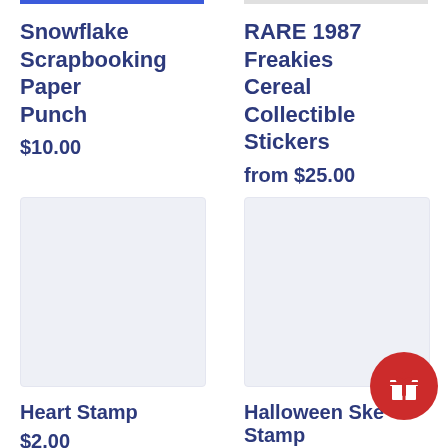Snowflake Scrapbooking Paper Punch
$10.00
RARE 1987 Freakies Cereal Collectible Stickers
from $25.00
[Figure (other): Product image placeholder for Heart Stamp]
Heart Stamp
$2.00
[Figure (other): Product image placeholder for Halloween Skeleton Stamp]
Halloween Skeleton Stamp
$2.00